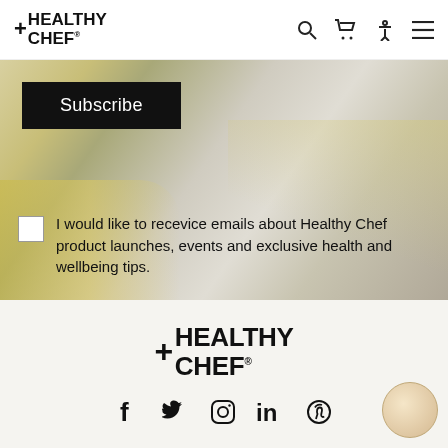+HEALTHY CHEF
[Figure (screenshot): Hero banner with food/lemon background image containing Subscribe button and email opt-in checkbox with text]
I would like to recevice emails about Healthy Chef product launches, events and exclusive health and wellbeing tips.
[Figure (logo): +HEALTHY CHEF logo in footer]
[Figure (infographic): Social media icons: Facebook, Twitter, Instagram, LinkedIn, Pinterest]